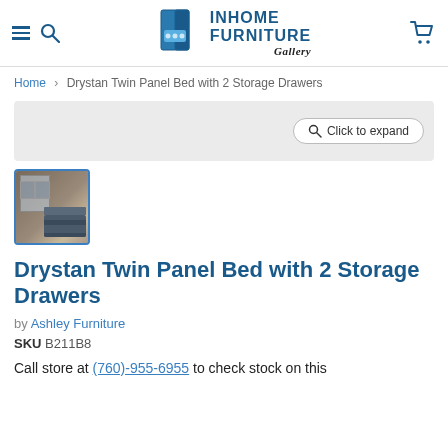InHome Furniture Gallery
Home › Drystan Twin Panel Bed with 2 Storage Drawers
[Figure (screenshot): Gray image placeholder area with a 'Click to expand' magnifier button]
[Figure (photo): Small thumbnail image of the Drystan Twin Panel Bed with 2 Storage Drawers, showing a bedroom scene with dark wood bed frame]
Drystan Twin Panel Bed with 2 Storage Drawers
by Ashley Furniture
SKU B211B8
Call store at (760)-955-6955 to check stock on this